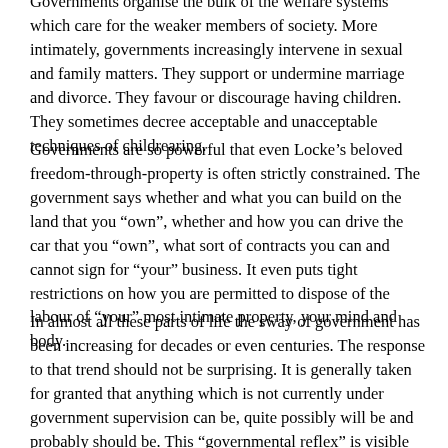Governments organise the bulk of the welfare systems which care for the weaker members of society. More intimately, governments increasingly intervene in sexual and family matters. They support or undermine marriage and divorce. They favour or discourage having children. They sometimes decree acceptable and unacceptable techniques of childrearing.
Governments are so powerful that even Locke's beloved freedom-through-property is often strictly constrained. The government says whether and what you can build on the land that you "own", whether and how you can drive the car that you "own", what sort of contracts you can and cannot sign for "your" business. It even puts tight restrictions on how you are permitted to dispose of the labour of "your" most intimate property, your mind and body.
In almost all these parts of life the sway of government has been increasing for decades or even centuries. The response to that trend should not be surprising. It is generally taken for granted that anything which is not currently under government supervision can be, quite possibly will be and probably should be. This "governmental reflex" is visible on almost every side of all debates about social issues. Is there a problem with drug abuse? The